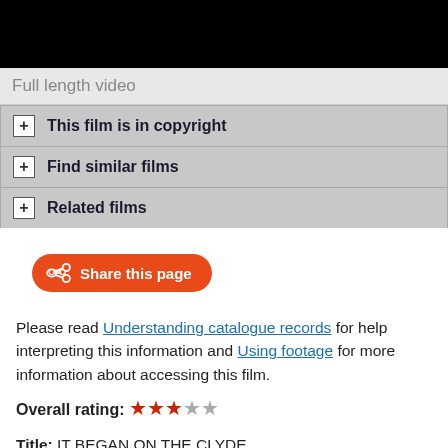[Figure (other): Black video player bar at top of page]
Full length video
+ This film is in copyright
+ Find similar films
+ Related films
Share this page
Please read Understanding catalogue records for help interpreting this information and Using footage for more information about accessing this film.
Overall rating: ★★★☆☆
Title: IT BEGAN ON THE CLYDE
Reference number: 0030
Date: 1946
Director: d. Ken Annakin
Sponsor: MOI for the Dept. of Health for Scotland